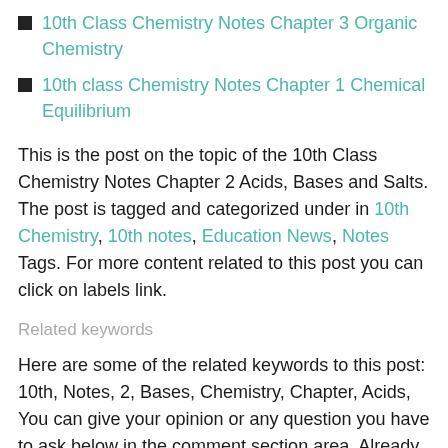10th Class Chemistry Notes Chapter 3 Organic Chemistry
10th class Chemistry Notes Chapter 1 Chemical Equilibrium
This is the post on the topic of the 10th Class Chemistry Notes Chapter 2 Acids, Bases and Salts. The post is tagged and categorized under in 10th Chemistry, 10th notes, Education News, Notes Tags. For more content related to this post you can click on labels link.
Related keywords
Here are some of the related keywords to this post: 10th, Notes, 2, Bases, Chemistry, Chapter, Acids, You can give your opinion or any question you have to ask below in the comment section area. Already 5 people have commented on this post. Be the next one